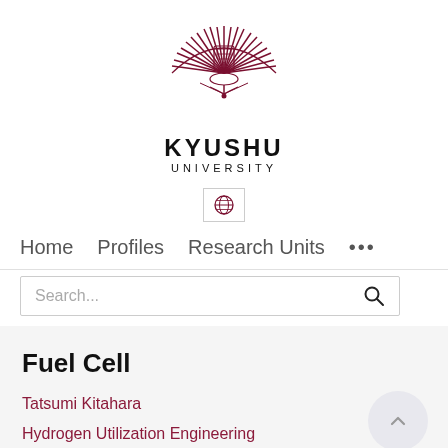[Figure (logo): Kyushu University logo — a stylized phoenix/peacock emblem in dark red/maroon with feathers radiating outward and a central crest]
KYUSHU UNIVERSITY
[Figure (logo): Globe/language selector icon inside a bordered box]
Home   Profiles   Research Units   ...
Search...
Fuel Cell
Tatsumi Kitahara
Hydrogen Utilization Engineering